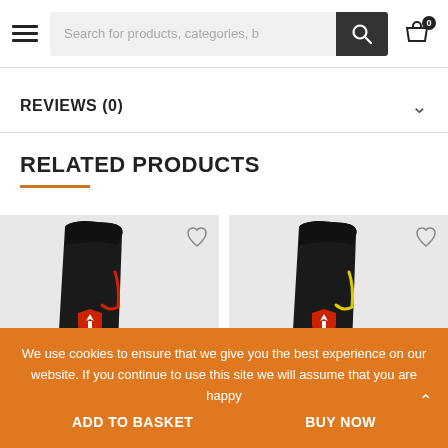Search for products, categories, b
REVIEWS (0)
RELATED PRODUCTS
[Figure (photo): Black coffee bag with red Lamborghini shield logo and red curved stripe design]
[Figure (photo): Black coffee bag with red Lamborghini shield logo and yellow curved stripe design]
We use cookies to ensure that we give you the best experience on our website. If you continue to use this site we will assume that you are happy
ADD TO BASKET   BUY NOW